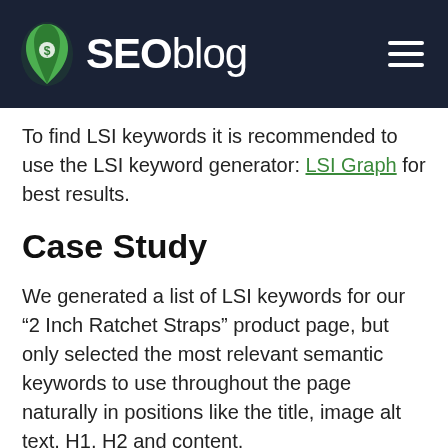SEOblog
To find LSI keywords it is recommended to use the LSI keyword generator: LSI Graph for best results.
Case Study
We generated a list of LSI keywords for our “2 Inch Ratchet Straps” product page, but only selected the most relevant semantic keywords to use throughout the page naturally in positions like the title, image alt text, H1, H2 and content.
By using these terms to create SEO content for our eCommerce site, the product page ranked in the top three search results for the target keyword and unique page views for that page increased by 269 percent in three weeks.